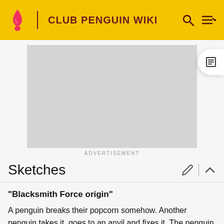CLUB PENGUIN WIKI
[Figure (other): Advertisement placeholder (gray rectangle)]
ADVERTISEMENT
Sketches
"Blacksmith Force origin"
A penguin breaks their popcorn somehow. Another penguin takes it, goes to an anvil and fixes it. The penguin